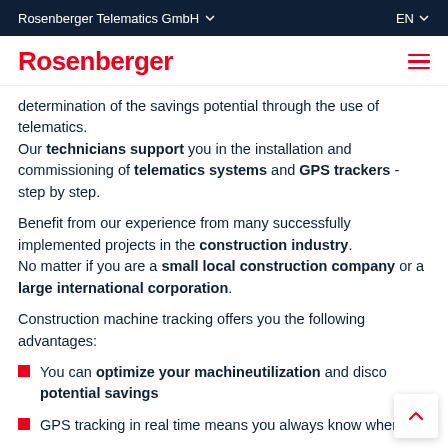Rosenberger Telematics GmbH   EN
Rosenberger
determination of the savings potential through the use of telematics. Our technicians support you in the installation and commissioning of telematics systems and GPS trackers - step by step.
Benefit from our experience from many successfully implemented projects in the construction industry. No matter if you are a small local construction company or a large international corporation.
Construction machine tracking offers you the following advantages:
You can optimize your machineutilization and discover potential savings
GPS tracking in real time means you always know where